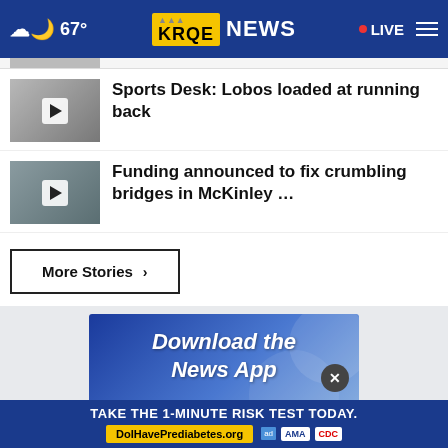67° KRQE NEWS • LIVE
[Figure (screenshot): Thumbnail image with play button for Sports Desk story]
Sports Desk: Lobos loaded at running back
[Figure (screenshot): Thumbnail image with play button for funding/bridges story]
Funding announced to fix crumbling bridges in McKinley …
More Stories ›
[Figure (infographic): Download the News App advertisement banner]
TAKE THE 1-MINUTE RISK TEST TODAY.
DoIHavePrediabetes.org